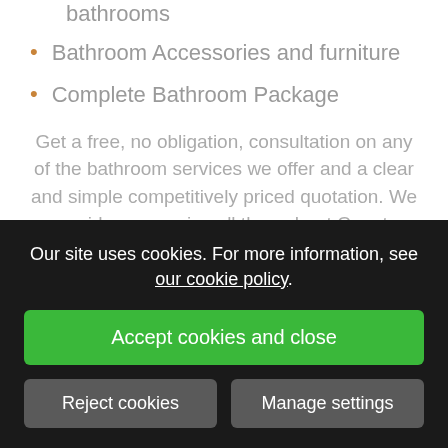Garage conversions to fully equipped bathrooms
Bathroom Accessories and furniture
Complete Bathroom Package
Get a free, no obligation, consultation on any of the bathroom services we offer and a clear and simple competitively priced quotation. We provide our service all throughout County Dublin and neighboring counties of Meath, Louth and Kildare.
Our site uses cookies. For more information, see our cookie policy.
Accept cookies and close
Reject cookies
Manage settings